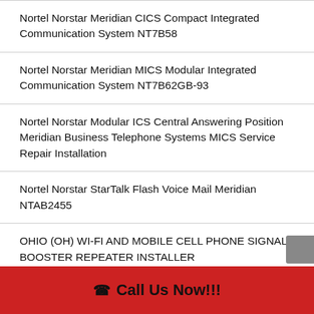Nortel Norstar Meridian CICS Compact Integrated Communication System NT7B58
Nortel Norstar Meridian MICS Modular Integrated Communication System NT7B62GB-93
Nortel Norstar Modular ICS Central Answering Position Meridian Business Telephone Systems MICS Service Repair Installation
Nortel Norstar StarTalk Flash Voice Mail Meridian NTAB2455
OHIO (OH) WI-FI AND MOBILE CELL PHONE SIGNAL BOOSTER REPEATER INSTALLER
On-Premise Digital IP New Business Phone System
Call Us Now!!!